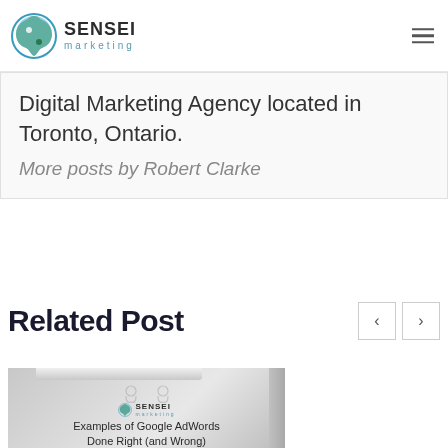SENSEI marketing
Digital Marketing Agency located in Toronto, Ontario.
More posts by Robert Clarke
Related Post
[Figure (screenshot): Thumbnail image for a related blog post titled 'Examples of Google AdWords Done Right (and Wrong)' with Sensei Marketing logo]